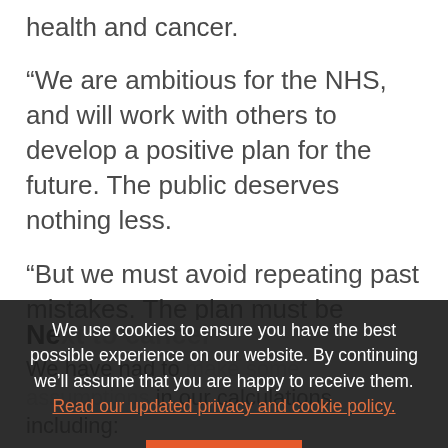health and cancer.
“We are ambitious for the NHS, and will work with others to develop a positive plan for the future. The public deserves nothing less.
“But we must avoid repeating past mistakes. The plan must be realistic, and must have the backing and involvement of the NHS front line leaders who have to actually deliver the plan. ”
We use cookies to ensure you have the best possible experience on our website. By continuing we’ll assume that you are happy to receive them. Read our updated privacy and cookie policy.
Next to cancel
We have had to make some assumptions in our calculations including:
the provider sustainability fund is recurrent